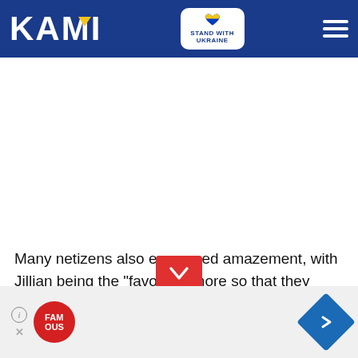KAMI — Stand with Ukraine
[Figure (photo): White empty content area placeholder (advertisement or image area)]
Many netizens also expressed amazement, with Jillian being the "favorite," more so that they would also be seeing Taylor Swift at her graduation.
[Figure (other): Advertisement banner at bottom with Famous Ous red circle logo and blue diamond navigation icon]